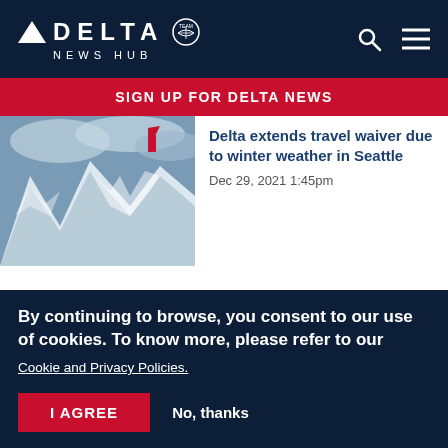DELTA NEWS HUB
SIGN UP FOR DELTA NEWS
[Figure (photo): Aerial view of snowy mountains with a red Delta airplane tail visible in clouds]
Delta extends travel waiver due to winter weather in Seattle
Dec 29, 2021 1:45pm
[Figure (photo): Snowy winter scene with equipment in misty conditions]
ARTICLE | WAIVERS
Updated: Delta issues travel waiver
By continuing to browse, you consent to our use of cookies. To know more, please refer to our Cookie and Privacy Policies.
I AGREE
No, thanks